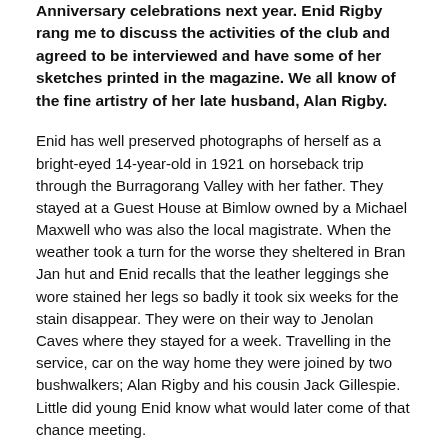Anniversary celebrations next year. Enid Rigby rang me to discuss the activities of the club and agreed to be interviewed and have some of her sketches printed in the magazine. We all know of the fine artistry of her late husband, Alan Rigby.
Enid has well preserved photographs of herself as a bright-eyed 14-year-old in 1921 on horseback trip through the Burragorang Valley with her father. They stayed at a Guest House at Bimlow owned by a Michael Maxwell who was also the local magistrate. When the weather took a turn for the worse they sheltered in Bran Jan hut and Enid recalls that the leather leggings she wore stained her legs so badly it took six weeks for the stain disappear. They were on their way to Jenolan Caves where they stayed for a week. Travelling in the service, car on the way home they were joined by two bushwalkers; Alan Rigby and his cousin Jack Gillespie. Little did young Enid know what would later come of that chance meeting.
Enid had been drawing from a very early age and her first